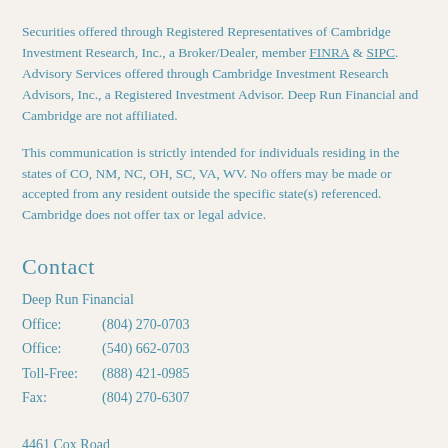Securities offered through Registered Representatives of Cambridge Investment Research, Inc., a Broker/Dealer, member FINRA & SIPC. Advisory Services offered through Cambridge Investment Research Advisors, Inc., a Registered Investment Advisor. Deep Run Financial and Cambridge are not affiliated.
This communication is strictly intended for individuals residing in the states of CO, NM, NC, OH, SC, VA, WV. No offers may be made or accepted from any resident outside the specific state(s) referenced. Cambridge does not offer tax or legal advice.
Contact
Deep Run Financial
Office:      (804) 270-0703
Office:      (540) 662-0703
Toll-Free:  (888) 421-0985
Fax:          (804) 270-6307
4461 Cox Road
Suite 101